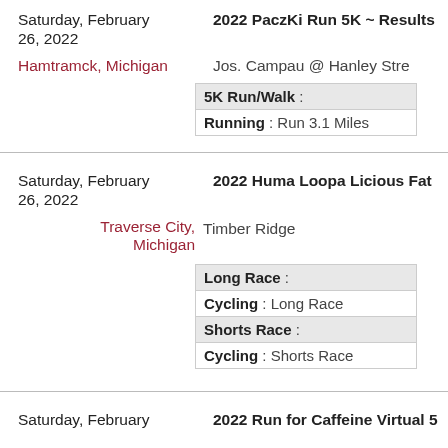Saturday, February 26, 2022
2022 PaczKi Run 5K ~ Results
Hamtramck, Michigan
Jos. Campau @ Hanley Stre
5K Run/Walk :
Running : Run 3.1 Miles
Saturday, February 26, 2022
2022 Huma Loopa Licious Fat
Traverse City, Michigan
Timber Ridge
Long Race :
Cycling : Long Race
Shorts Race :
Cycling : Shorts Race
Saturday, February
2022 Run for Caffeine Virtual 5